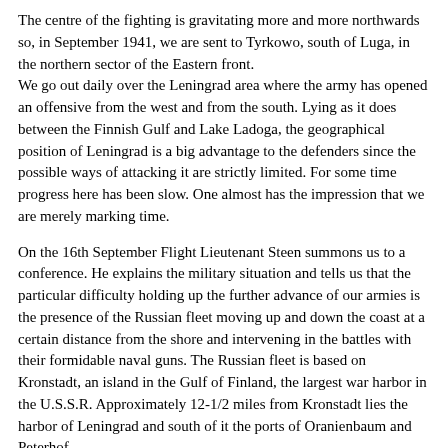The centre of the fighting is gravitating more and more northwards so, in September 1941, we are sent to Tyrkowo, south of Luga, in the northern sector of the Eastern front. We go out daily over the Leningrad area where the army has opened an offensive from the west and from the south. Lying as it does between the Finnish Gulf and Lake Ladoga, the geographical position of Leningrad is a big advantage to the defenders since the possible ways of attacking it are strictly limited. For some time progress here has been slow. One almost has the impression that we are merely marking time.
On the 16th September Flight Lieutenant Steen summons us to a conference. He explains the military situation and tells us that the particular difficulty holding up the further advance of our armies is the presence of the Russian fleet moving up and down the coast at a certain distance from the shore and intervening in the battles with their formidable naval guns. The Russian fleet is based on Kronstadt, an island in the Gulf of Finland, the largest war harbor in the U.S.S.R. Approximately 12-1/2 miles from Kronstadt lies the harbor of Leningrad and south of it the ports of Oranienbaum and Peterhof. Very strong enemy forces are massed round these two towns on a strip of coast some six miles long. We are told to mark all the positions precisely on our maps so as to ensure our being able to recognize our own front line. We are beginning to guess that these